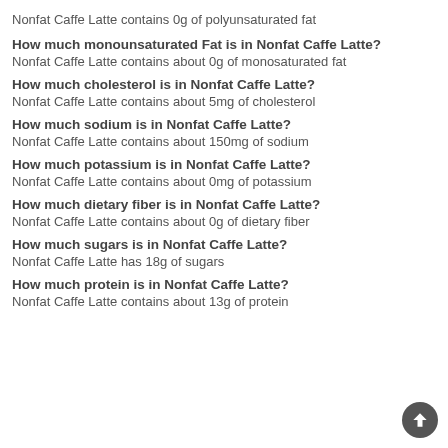Nonfat Caffe Latte contains 0g of polyunsaturated fat
How much monounsaturated Fat is in Nonfat Caffe Latte?
Nonfat Caffe Latte contains about 0g of monosaturated fat
How much cholesterol is in Nonfat Caffe Latte?
Nonfat Caffe Latte contains about 5mg of cholesterol
How much sodium is in Nonfat Caffe Latte?
Nonfat Caffe Latte contains about 150mg of sodium
How much potassium is in Nonfat Caffe Latte?
Nonfat Caffe Latte contains about 0mg of potassium
How much dietary fiber is in Nonfat Caffe Latte?
Nonfat Caffe Latte contains about 0g of dietary fiber
How much sugars is in Nonfat Caffe Latte?
Nonfat Caffe Latte has 18g of sugars
How much protein is in Nonfat Caffe Latte?
Nonfat Caffe Latte contains about 13g of protein